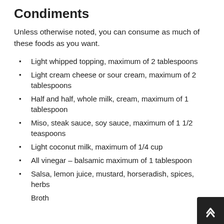Condiments
Unless otherwise noted, you can consume as much of these foods as you want.
Light whipped topping, maximum of 2 tablespoons
Light cream cheese or sour cream, maximum of 2 tablespoons
Half and half, whole milk, cream, maximum of 1 tablespoon
Miso, steak sauce, soy sauce, maximum of 1 1/2 teaspoons
Light coconut milk, maximum of 1/4 cup
All vinegar – balsamic maximum of 1 tablespoon
Salsa, lemon juice, mustard, horseradish, spices, herbs
Broth